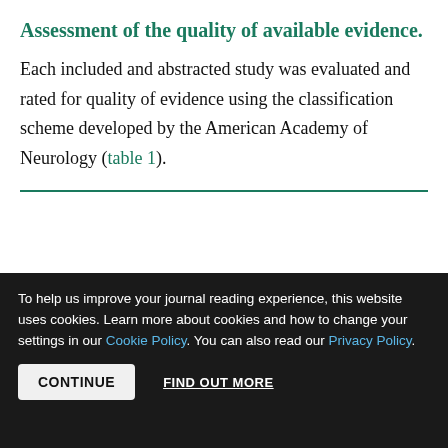Assessment of the quality of available evidence.
Each included and abstracted study was evaluated and rated for quality of evidence using the classification scheme developed by the American Academy of Neurology (table 1).
Table 1 American Academy of Neurology Evidence Classification Scheme
View inline  View popup
To help us improve your journal reading experience, this website uses cookies. Learn more about cookies and how to change your settings in our Cookie Policy. You can also read our Privacy Policy.